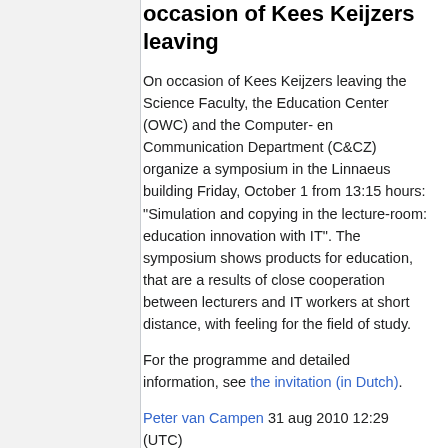occasion of Kees Keijzers leaving
On occasion of Kees Keijzers leaving the Science Faculty, the Education Center (OWC) and the Computer- en Communication Department (C&CZ) organize a symposium in the Linnaeus building Friday, October 1 from 13:15 hours: "Simulation and copying in the lecture-room: education innovation with IT". The symposium shows products for education, that are a results of close cooperation between lecturers and IT workers at short distance, with feeling for the field of study.
For the programme and detailed information, see the invitation (in Dutch).
Peter van Campen 31 aug 2010 12:29 (UTC)